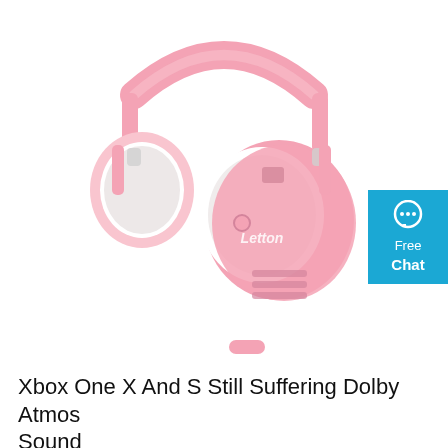[Figure (photo): Pink gaming headset (Letton brand) with white ear cushions, pink headband, and a detachable microphone. The headset is shown at an angle on a white background.]
[Figure (infographic): Blue badge/button on the right side with a chat bubble icon and text 'Free Chat']
Xbox One X And S Still Suffering Dolby Atmos Sound